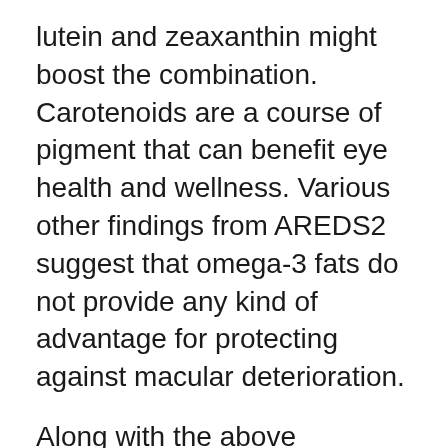lutein and zeaxanthin might boost the combination. Carotenoids are a course of pigment that can benefit eye health and wellness. Various other findings from AREDS2 suggest that omega-3 fats do not provide any kind of advantage for protecting against macular deterioration.
Along with the above supplements, other proof likewise suggests the potential of vitamin A, selenium, and also anthocyanins. Similar to carotenoids, anthocyanins are a course of pigment that may be beneficial for eye wellness.
Potential threats.
Despite the individual…